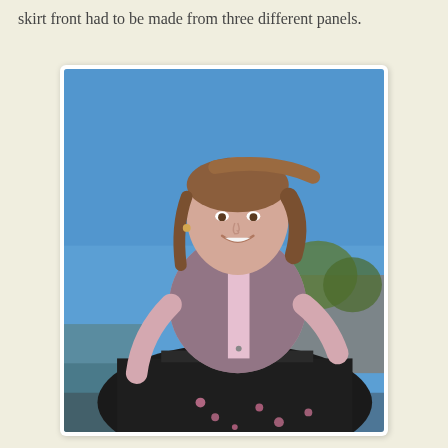skirt front had to be made from three different panels.
[Figure (photo): A young woman smiling outdoors under a bright blue sky, wearing a sleeveless pink and black lace patterned blouse with a white collar, and a black skirt with pink floral embroidery. She has her hands on her hips and appears to be posing on or near a vehicle.]